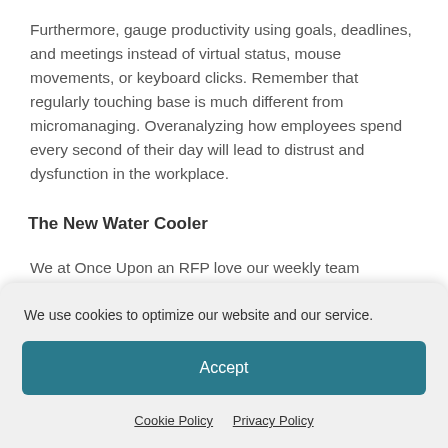Furthermore, gauge productivity using goals, deadlines, and meetings instead of virtual status, mouse movements, or keyboard clicks. Remember that regularly touching base is much different from micromanaging. Overanalyzing how employees spend every second of their day will lead to distrust and dysfunction in the workplace.
The New Water Cooler
We at Once Upon an RFP love our weekly team...
We use cookies to optimize our website and our service.
Accept
Cookie Policy   Privacy Policy